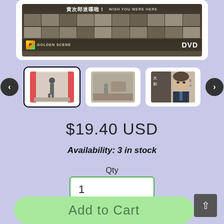[Figure (photo): DVD movie cover for a Japanese/Chinese film showing 'WISH YOU WERE HERE', with ensemble cast photos in a grid, GoldenScene distributor logo, and DVD label]
[Figure (photo): Three product thumbnail images with left/right navigation arrows: first thumbnail selected (movie poster with standing figure), second thumbnail (back cover), third thumbnail (actor close-up)]
$19.40 USD
Availability: 3 in stock
Qty
1
Add to Cart